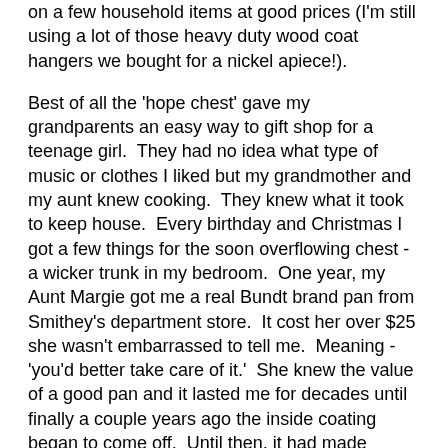on a few household items at good prices (I'm still using a lot of those heavy duty wood coat hangers we bought for a nickel apiece!).
Best of all the 'hope chest' gave my grandparents an easy way to gift shop for a teenage girl.  They had no idea what type of music or clothes I liked but my grandmother and my aunt knew cooking.  They knew what it took to keep house.  Every birthday and Christmas I got a few things for the soon overflowing chest - a wicker trunk in my bedroom.  One year, my Aunt Margie got me a real Bundt brand pan from Smithey's department store.  It cost her over $25 she wasn't embarrassed to tell me.  Meaning - 'you'd better take care of it.'  She knew the value of a good pan and it lasted me for decades until finally a couple years ago the inside coating began to come off.  Until then, it had made countless wonderful cakes.  I experimented with another pan, but never liked my replacement.
Then one day, I saw a promotion for Bundt and a new anniversary pan offered at Williams Sonoma.  They say everthing costs so much more now, but the new version is